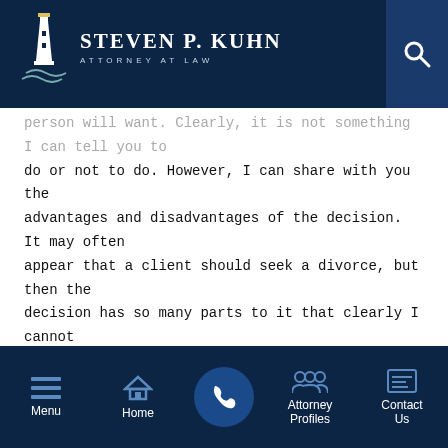Steven P. Kuhn Attorney at Law
person will want. Clearly, it is not something I can tell you to do or not to do. However, I can share with you the advantages and disadvantages of the decision. It may often appear that a client should seek a divorce, but then the decision has so many parts to it that clearly I cannot presume to know enough from one initial meeting with a client.

An advantage of filing is that you bring to an end a marriage that has failed. Regardless of who or what caused the
Menu | Home | Call | Attorney Profiles | Contact Us